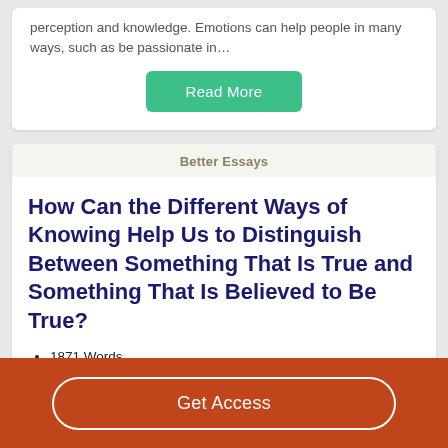perception and knowledge. Emotions can help people in many ways, such as be passionate in…
Read More
Better Essays
How Can the Different Ways of Knowing Help Us to Distinguish Between Something That Is True and Something That Is Believed to Be True?
1871 Words
8 Pages
Get Access